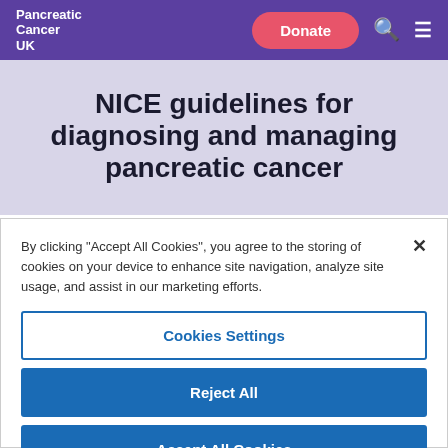Pancreatic Cancer UK
NICE guidelines for diagnosing and managing pancreatic cancer
By clicking "Accept All Cookies", you agree to the storing of cookies on your device to enhance site navigation, analyze site usage, and assist in our marketing efforts.
Cookies Settings
Reject All
Accept All Cookies